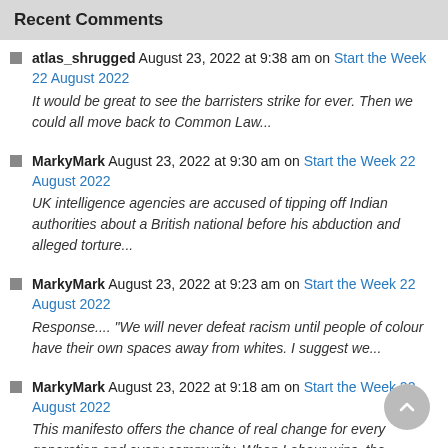Recent Comments
atlas_shrugged August 23, 2022 at 9:38 am on Start the Week 22 August 2022
It would be great to see the barristers strike for ever. Then we could all move back to Common Law...
MarkyMark August 23, 2022 at 9:30 am on Start the Week 22 August 2022
UK intelligence agencies are accused of tipping off Indian authorities about a British national before his abduction and alleged torture...
MarkyMark August 23, 2022 at 9:23 am on Start the Week 22 August 2022
Response.... "We will never defeat racism until people of colour have their own spaces away from whites. I suggest we...
MarkyMark August 23, 2022 at 9:18 am on Start the Week 22 August 2022
This manifesto offers the chance of real change for every generation and every community. When Labour wins, the